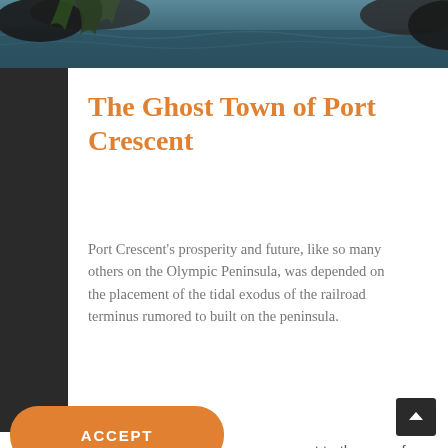[Figure (photo): Top banner photo of water/lake scene with trees and rocks, dark blue-green tones]
The Ghost Town of Port Crescent
Port Crescent’s prosperity and future, like so many others on the Olympic Peninsula, was depended on the placement of the tidal exodus of the railroad terminus rumored to built on the peninsula.
By continuing to use this website, you consent to the use of cookies in accordance with our Cookie Policy.
ACCEPT
[Figure (photo): Bottom right partial photo showing dark trees/foliage]